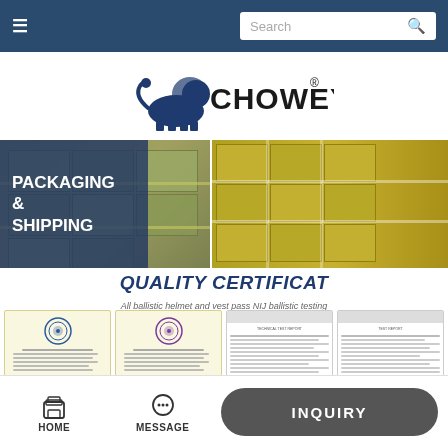Navigation bar with hamburger menu and search box
[Figure (logo): CHOWEY brand logo with lion graphic and registered trademark symbol]
[Figure (photo): Packaging and shipping photo collage showing stacked boxes/packages in a warehouse. Left panel has dark blue overlay with text 'PACKAGING & SHIPPING'. Right panel shows yellow/olive wrapped packages stacked in rows.]
QUALITY CERTIFICAT
All ballistic helmet and vest pass NIJ ballistic testing
[Figure (photo): Four quality certificates displayed side by side: two round-seal certificates on cream background (left), and two document-style test reports on white background (right).]
HOME   MESSAGE   INQUIRY